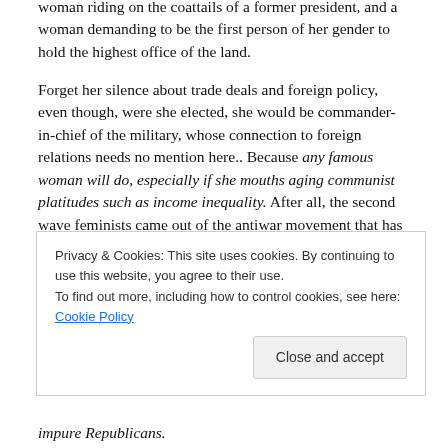woman riding on the coattails of a former president, and a woman demanding to be the first person of her gender to hold the highest office of the land.
Forget her silence about trade deals and foreign policy, even though, were she elected, she would be commander-in-chief of the military, whose connection to foreign relations needs no mention here.. Because any famous woman will do, especially if she mouths aging communist platitudes such as income inequality. After all, the second wave feminists came out of the antiwar movement that has never lost its glamour for Hollywood producers and
impure Republicans.
Privacy & Cookies: This site uses cookies. By continuing to use this website, you agree to their use.
To find out more, including how to control cookies, see here: Cookie Policy
Close and accept